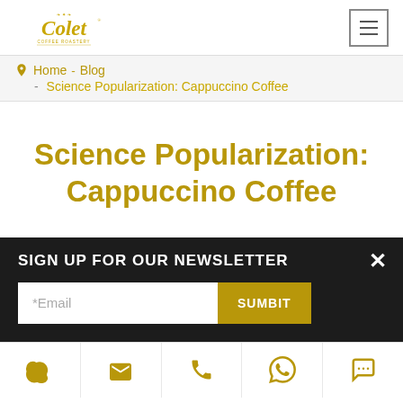[Figure (logo): Colet coffee roastery logo in gold/yellow script with decorative elements]
Navigation hamburger menu icon
Home - Blog - Science Popularization: Cappuccino Coffee
Science Popularization: Cappuccino Coffee
SIGN UP FOR OUR NEWSLETTER
*Email  SUMBIT
[Figure (infographic): Contact icons bar: Skype, Email, Phone, WhatsApp, Chat icons in gold]